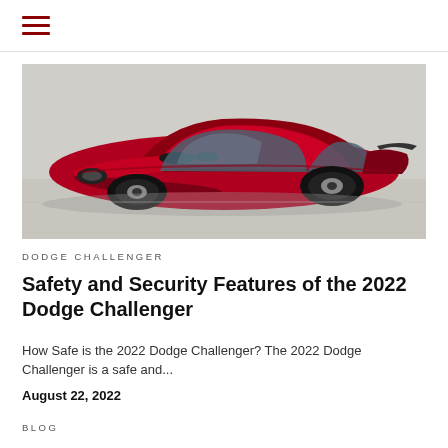≡ (hamburger menu)
[Figure (photo): A red Dodge Challenger muscle car photographed from a front-three-quarter angle on a flat surface, showing the distinctive hood scoops and black wheels.]
DODGE CHALLENGER
Safety and Security Features of the 2022 Dodge Challenger
How Safe is the 2022 Dodge Challenger? The 2022 Dodge Challenger is a safe and...
August 22, 2022
BLOG